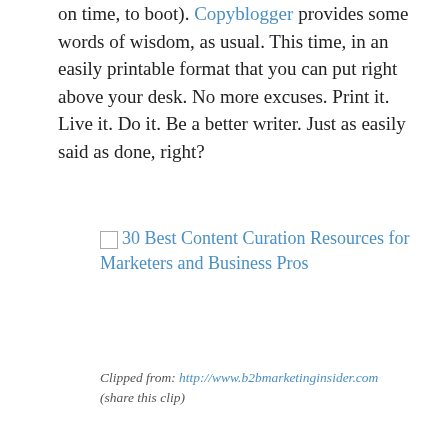on time, to boot). Copyblogger provides some words of wisdom, as usual. This time, in an easily printable format that you can put right above your desk. No more excuses. Print it. Live it. Do it. Be a better writer. Just as easily said as done, right?
[Figure (illustration): Broken image placeholder with link text: 30 Best Content Curation Resources for Marketers and Business Pros]
Clipped from: http://www.b2bmarketinginsider.com (share this clip)